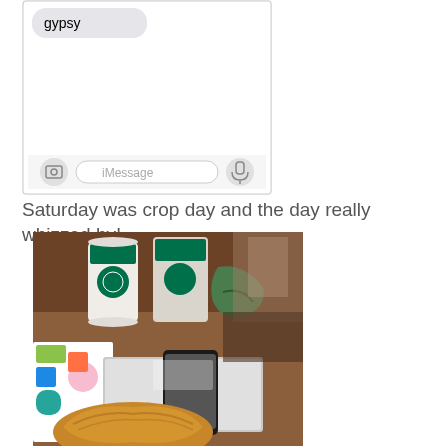[Figure (screenshot): iPhone iMessage conversation screenshot showing a message bubble with the word 'gypsy' and the iMessage input bar at the bottom with camera icon and microphone icon]
Saturday was crop day and the day really whizzed by!
[Figure (photo): Photo of a Starbucks table setting with a white Starbucks cup, a laptop or tablet device, a phone, scrapbooking materials with colorful patterns, and a croissant in the foreground]